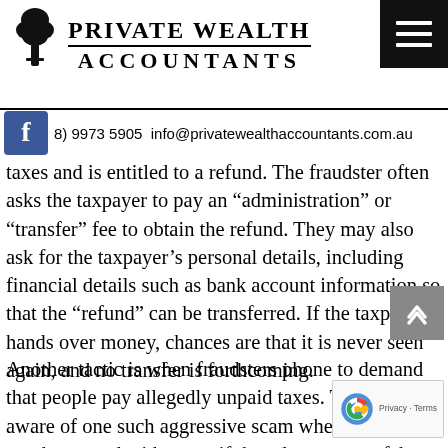PRIVATE WEALTH ACCOUNTANTS
(8) 9973 5905 info@privatewealthaccountants.com.au
taxes and is entitled to a refund. The fraudster often asks the taxpayer to pay an “administration” or “transfer” fee to obtain the refund. They may also ask for the taxpayer’s personal details, including financial details such as bank account information so that the “refund” can be transferred. If the taxpayer hands over money, chances are that it is never seen again, and no transfer is forthcoming.
Another tactic is when fraudsters phone to demand that people pay allegedly unpaid taxes. The ATO is aware of one such aggressive scam where taxpayers are threatened with arrest if they do not pay a fake “tax debt”.